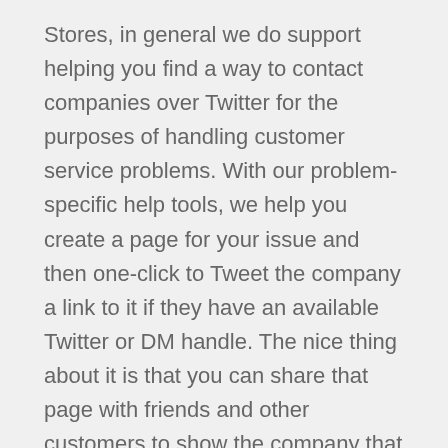Stores, in general we do support helping you find a way to contact companies over Twitter for the purposes of handling customer service problems. With our problem-specific help tools, we help you create a page for your issue and then one-click to Tweet the company a link to it if they have an available Twitter or DM handle. The nice thing about it is that you can share that page with friends and other customers to show the company that others are paying attention as well, which we find gets you a faster, better response in most cases.
More about contacting ALDI Stores
Of the 1 way(s) to get in touch with ALDI Stores, customers like you claim that the best one is the